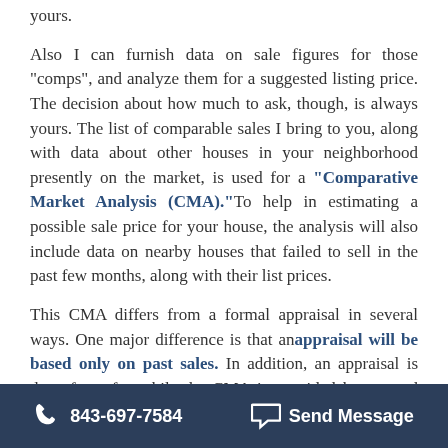yours.
Also I can furnish data on sale figures for those "comps", and analyze them for a suggested listing price. The decision about how much to ask, though, is always yours. The list of comparable sales I bring to you, along with data about other houses in your neighborhood presently on the market, is used for a "Comparative Market Analysis (CMA)." To help in estimating a possible sale price for your house, the analysis will also include data on nearby houses that failed to sell in the past few months, along with their list prices.
This CMA differs from a formal appraisal in several ways. One major difference is that an appraisal will be based only on past sales. In addition, an appraisal is done for a fee while the CMA is provided by us, and may include properties currently listed for
843-697-7584   Send Message